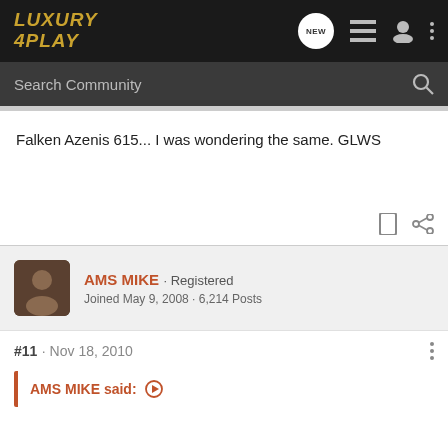LUXURY 4PLAY
Falken Azenis 615... I was wondering the same. GLWS
AMS MIKE · Registered
Joined May 9, 2008 · 6,214 Posts
#11 · Nov 18, 2010
AMS MIKE said: